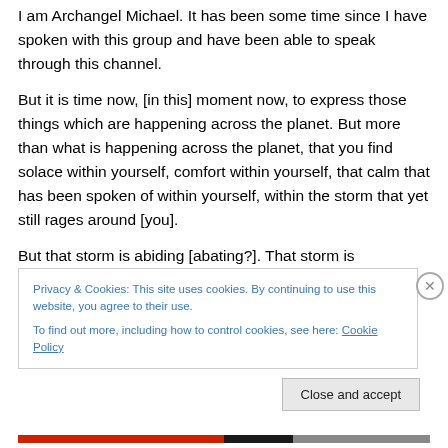I am Archangel Michael. It has been some time since I have spoken with this group and have been able to speak through this channel.
But it is time now, [in this] moment now, to express those things which are happening across the planet. But more than what is happening across the planet, that you find solace within yourself, comfort within yourself, that calm that has been spoken of within yourself, within the storm that yet still rages around [you].
But that storm is abiding [abating?]. That storm is
Privacy & Cookies: This site uses cookies. By continuing to use this website, you agree to their use.
To find out more, including how to control cookies, see here: Cookie Policy
Close and accept